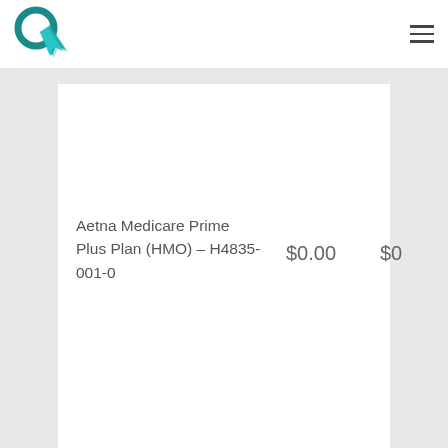ClickQuote logo and navigation
| Plan | Monthly Premium | Annual Deductible |
| --- | --- | --- |
| Aetna Medicare Prime Plus Plan (HMO) – H4835-001-0 | $0.00 | $0 |